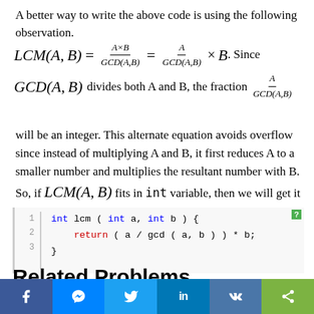A better way to write the above code is using the following observation.
will be an integer. This alternate equation avoids overflow since instead of multiplying A and B, it first reduces A to a smaller number and multiplies the resultant number with B. So, if LCM(A,B) fits in int variable, then we will get it without the risk of intermediate products overflowing.
int lcm ( int a, int b ) {
    return ( a / gcd ( a, b ) ) * b;
}
Related Problems